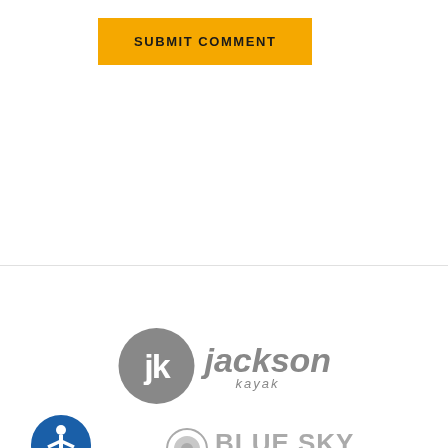[Figure (logo): Yellow/amber 'SUBMIT COMMENT' button with bold uppercase text]
[Figure (logo): Jackson Kayak logo in gray - circular JK emblem with 'jackson kayak' text]
[Figure (logo): Accessibility icon - blue circle with white person figure]
[Figure (logo): Blue Sky Boatworks logo in gray with circular emblem and bold text]